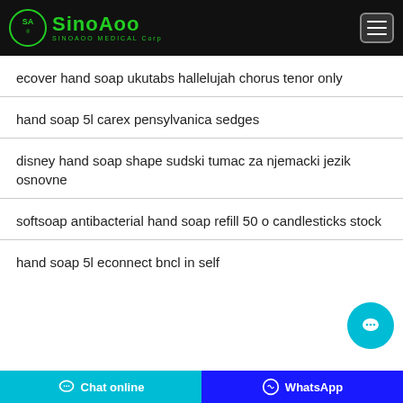[Figure (logo): SinoAoo Medical Corp logo with green circle and text on black header bar]
ecover hand soap ukutabs hallelujah chorus tenor only
hand soap 5l carex pensylvanica sedges
disney hand soap shape sudski tumac za njemacki jezik osnovne
softsoap antibacterial hand soap refill 50 o candlesticks stock
hand soap 5l econnect bncl in self
Chat online   WhatsApp